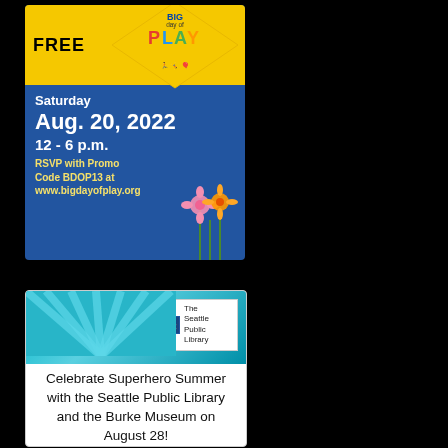[Figure (infographic): Big Day of Play event flyer. Blue background with yellow top bar. 'FREE' text in bold black. Diamond shape with 'BIG day of PLAY' logo and silhouettes of children playing. Text: 'Saturday Aug. 20, 2022 12 - 6 p.m. RSVP with Promo Code BDOP13 at www.bigdayofplay.org'. Flowers in bottom right corner.]
[Figure (infographic): Seattle Public Library event flyer. Teal top with radiating sunburst rays. Seattle Public Library logo in white box. Text: 'Celebrate Superhero Summer with the Seattle Public Library and the Burke Museum on August 28!']